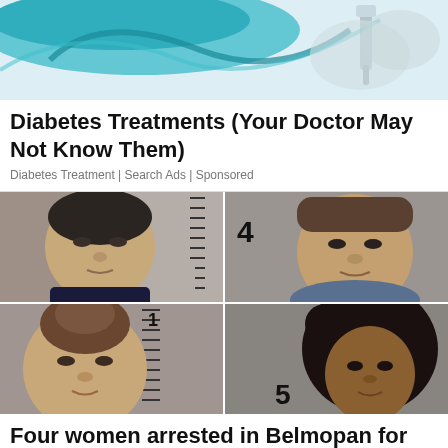[Figure (illustration): Advertisement illustration showing diabetes treatment imagery with blue and teal colors, syringe graphic]
Diabetes Treatments (Your Doctor May Not Know Them)
Diabetes Treatment | Search Ads | Sponsored
[Figure (photo): Four mugshot photos arranged in a 2x2 grid showing four women arrested in Belmopan for drug trafficking. Top-left: older Asian woman. Top-right: middle-aged woman labeled '4'. Bottom-left: younger woman labeled '1'. Bottom-right: woman with curly hair labeled '5'.]
Four women arrested in Belmopan for drug traffickingFour women arrested in Belmopan for